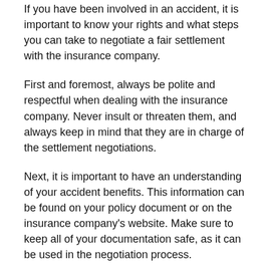If you have been involved in an accident, it is important to know your rights and what steps you can take to negotiate a fair settlement with the insurance company.
First and foremost, always be polite and respectful when dealing with the insurance company. Never insult or threaten them, and always keep in mind that they are in charge of the settlement negotiations.
Next, it is important to have an understanding of your accident benefits. This information can be found on your policy document or on the insurance company's website. Make sure to keep all of your documentation safe, as it can be used in the negotiation process.